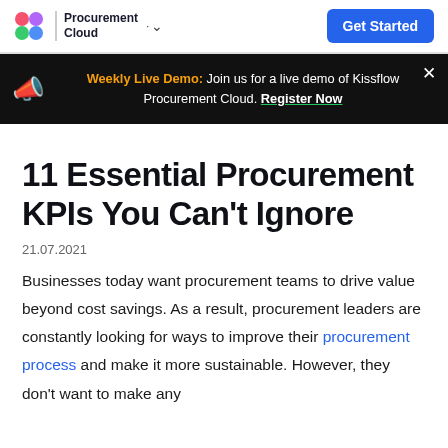Procurement Cloud | Get Started
Weekly Live Demo: Join us for a live demo of Kissflow Procurement Cloud. Register Now
11 Essential Procurement KPIs You Can't Ignore
21.07.2021
Businesses today want procurement teams to drive value beyond cost savings. As a result, procurement leaders are constantly looking for ways to improve their procurement process and make it more sustainable. However, they don't want to make any